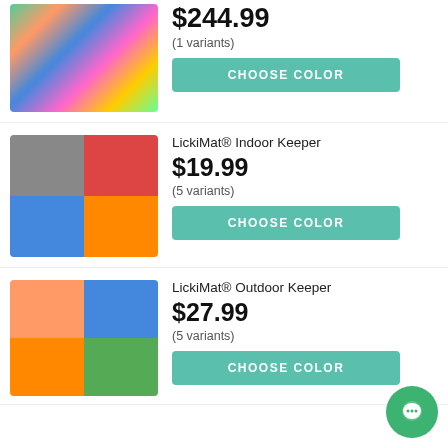[Figure (photo): Product image showing colorful dog toy bundle including frisbees, toys and LickiMat products]
$244.99
(1 variants)
CHOOSE COLOR
[Figure (photo): LickiMat Indoor Keeper product image showing multiple colored square keeper frames in orange, blue, pink, green, grey]
LickiMat® Indoor Keeper
$19.99
(5 variants)
CHOOSE COLOR
[Figure (photo): LickiMat Outdoor Keeper product image showing multiple colored square keeper frames in orange, pink, blue, green]
LickiMat® Outdoor Keeper
$27.99
(5 variants)
CHOOSE COLOR